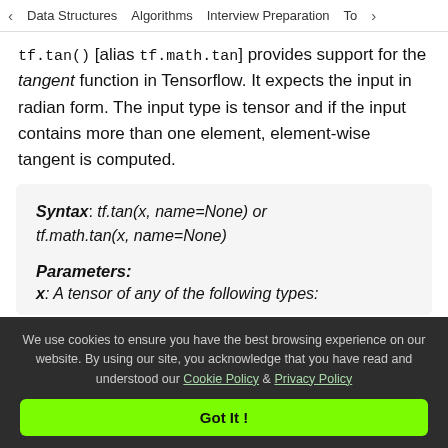< Data Structures   Algorithms   Interview Preparation   To>
tf.tan() [alias tf.math.tan] provides support for the tangent function in Tensorflow. It expects the input in radian form. The input type is tensor and if the input contains more than one element, element-wise tangent is computed.
Syntax: tf.tan(x, name=None) or tf.math.tan(x, name=None)

Parameters:
x: A tensor of any of the following types:
We use cookies to ensure you have the best browsing experience on our website. By using our site, you acknowledge that you have read and understood our Cookie Policy & Privacy Policy
Got It !